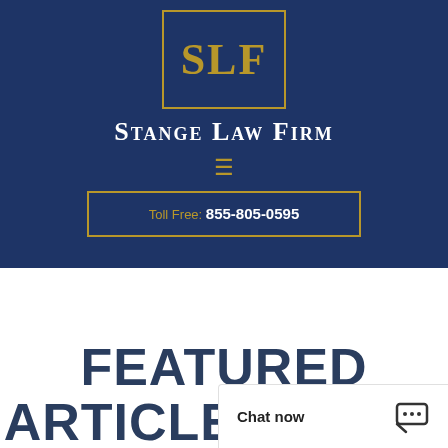[Figure (logo): Stange Law Firm logo with SLF initials in gold on navy blue background with gold border]
Stange Law Firm
≡
Toll Free: 855-805-0595
FEATURED ARTICLES FROM THE ST...
Chat now